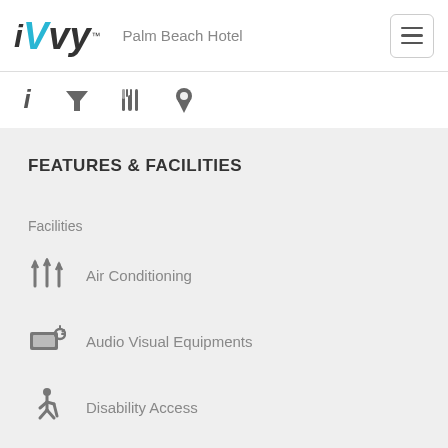iVvy Palm Beach Hotel
FEATURES & FACILITIES
Facilities
Air Conditioning
Audio Visual Equipments
Disability Access
Free Parking
Gaming Area
WiFi